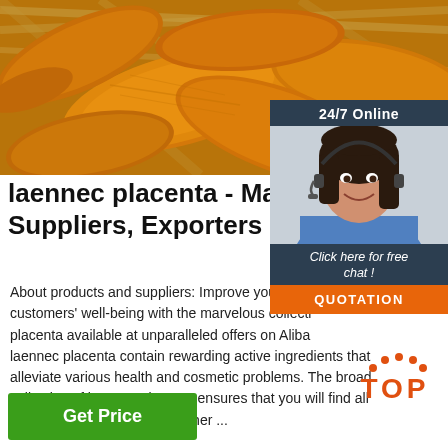[Figure (photo): Close-up photo of dried turmeric root slices, golden-orange color, piled together with some straw/basket material in background]
[Figure (photo): Chat widget showing a customer service agent (woman with headset) with '24/7 Online' header, 'Click here for free chat!' text, and orange QUOTATION button. Also includes TOP badge with orange dots and text.]
laennec placenta - Manufac Suppliers, Exporters ...
About products and suppliers: Improve your health and customers' well-being with the marvelous collection of placenta available at unparalleled offers on Alibaba. laennec placenta contain rewarding active ingredients that alleviate various health and cosmetic problems. The broad collection of laennec placenta ensures that you will find all products of your choice, whether ...
Get Price